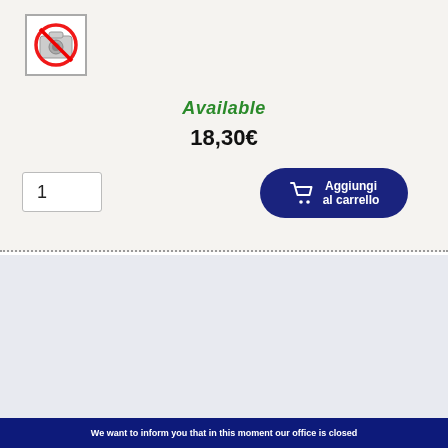[Figure (photo): No-photo icon: red circle with diagonal bar over a camera, inside a white bordered box]
Available
18,30€
1
[Figure (illustration): Add to cart button with shopping cart icon labeled 'Aggiungi al carrello']
Product RBCIP12M-B
Back Cover Per Iphone 12 Mini Big Hole No Logo Blu
[Figure (photo): Blue iPhone 12 Mini back cover, shown as a dark blue phone-shaped rectangle with camera hole cutout at top]
Low quantity
We want to inform you that in this moment our office is closed